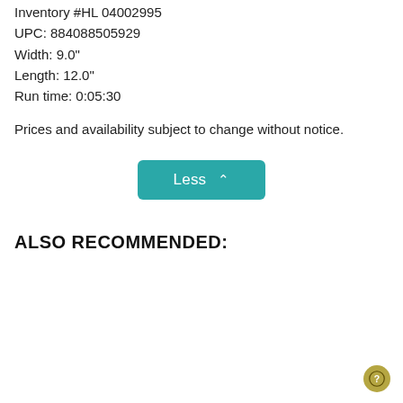Inventory #HL 04002995
UPC: 884088505929
Width: 9.0"
Length: 12.0"
Run time: 0:05:30
Prices and availability subject to change without notice.
Less ^
ALSO RECOMMENDED: